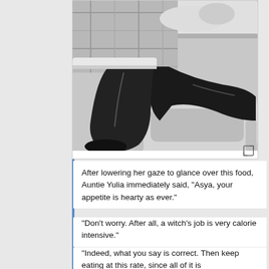[Figure (illustration): Manga panel showing a character with dark pants/leggings seated at or leaning over a table/desk, cropped view of legs and lower body, black and white illustration style.]
After lowering her gaze to glance over this food, Auntie Yulia immediately said, "Asya, your appetite is hearty as ever."
"Don't worry. After all, a witch's job is very calorie intensive."
"Indeed, what you say is correct. Then keep eating at this rate, since all of it is